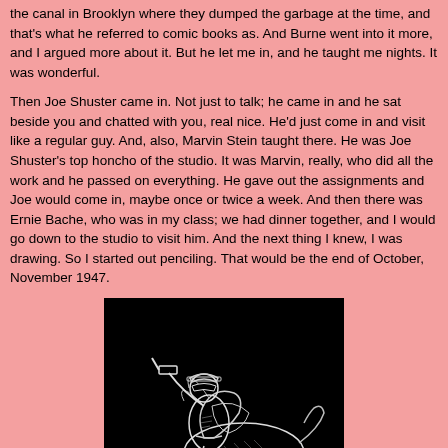the canal in Brooklyn where they dumped the garbage at the time, and that's what he referred to comic books as. And Burne went into it more, and I argued more about it. But he let me in, and he taught me nights. It was wonderful.
Then Joe Shuster came in. Not just to talk; he came in and he sat beside you and chatted with you, real nice. He'd just come in and visit like a regular guy. And, also, Marvin Stein taught there. He was Joe Shuster's top honcho of the studio. It was Marvin, really, who did all the work and he passed on everything. He gave out the assignments and Joe would come in, maybe once or twice a week. And then there was Ernie Bache, who was in my class; we had dinner together, and I would go down to the studio to visit him. And the next thing I knew, I was drawing. So I started out penciling. That would be the end of October, November 1947.
[Figure (illustration): Black and white comic book illustration on a black background showing a masked western/action character riding a horse at full gallop, holding a gun raised upward. Detailed ink drawing style.]